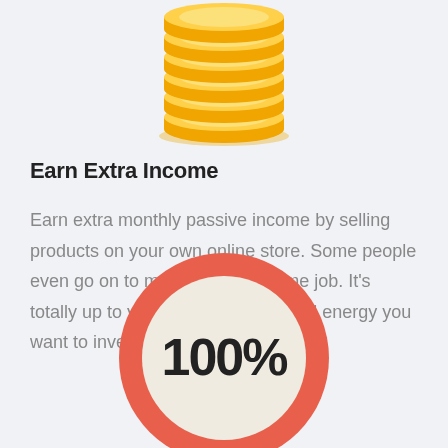[Figure (illustration): Stack of golden coins icon centered at top of page]
Earn Extra Income
Earn extra monthly passive income by selling products on your own online store. Some people even go on to make it their full time job. It's totally up to you how much time and energy you want to invest.
[Figure (donut-chart): Circular badge with thick salmon/coral outer ring and cream inner circle displaying '100%' in bold dark text]